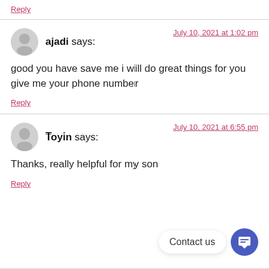Reply
ajadi says:  July 10, 2021 at 1:02 pm
good you have save me i will do great things for you give me your phone number
Reply
Toyin says:  July 10, 2021 at 6:55 pm
Thanks, really helpful for my son
Reply
Contact us